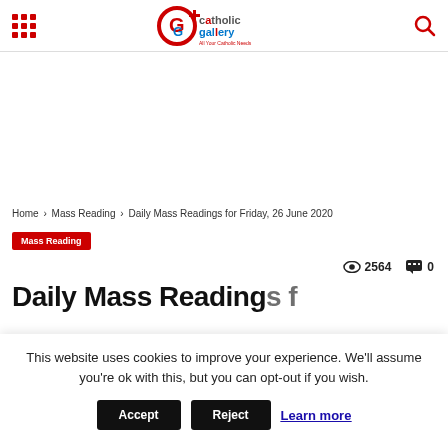Catholic Gallery — All Your Catholic Needs
Home › Mass Reading › Daily Mass Readings for Friday, 26 June 2020
Mass Reading
2564 views · 0 comments
Daily Mass Readings f…
This website uses cookies to improve your experience. We'll assume you're ok with this, but you can opt-out if you wish.